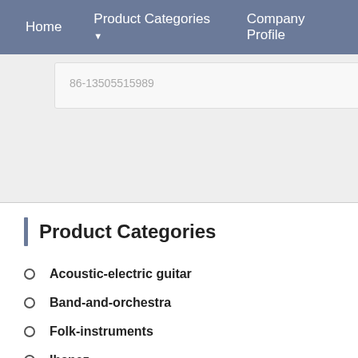Home  Product Categories  Company Profile
86-13505515989
Product Categories
Acoustic-electric guitar
Band-and-orchestra
Folk-instruments
Ibanez